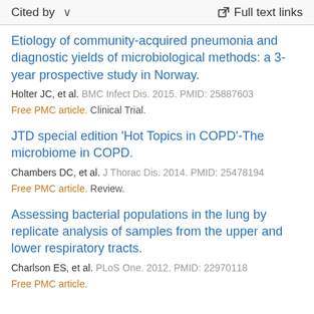Cited by   ∨   Full text links
Etiology of community-acquired pneumonia and diagnostic yields of microbiological methods: a 3-year prospective study in Norway.
Holter JC, et al. BMC Infect Dis. 2015. PMID: 25887603
Free PMC article. Clinical Trial.
JTD special edition 'Hot Topics in COPD'-The microbiome in COPD.
Chambers DC, et al. J Thorac Dis. 2014. PMID: 25478194
Free PMC article. Review.
Assessing bacterial populations in the lung by replicate analysis of samples from the upper and lower respiratory tracts.
Charlson ES, et al. PLoS One. 2012. PMID: 22970118
Free PMC article.